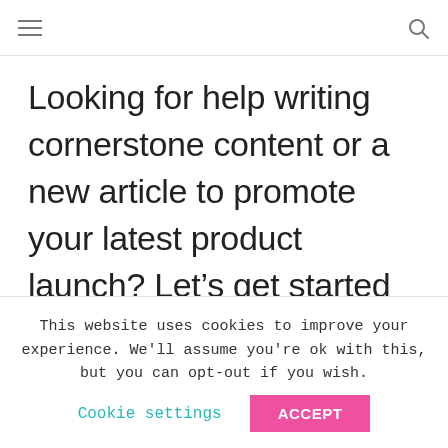≡   🔍
Looking for help writing cornerstone content or a new article to promote your latest product launch? Let's get started today.
This website uses cookies to improve your experience. We'll assume you're ok with this, but you can opt-out if you wish.  Cookie settings  ACCEPT